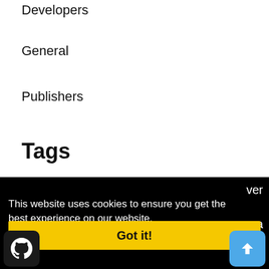Developers
General
Publishers
Tags
This website uses cookies to ensure you get the best experience on our website.
Learn more
Got it!